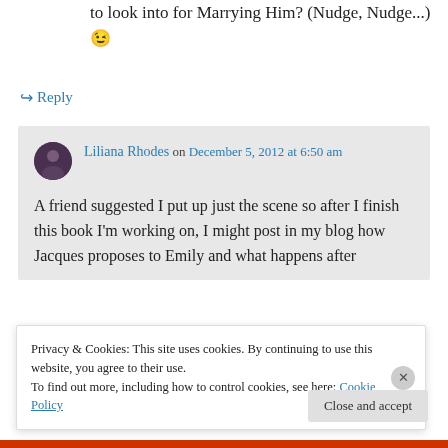to look into for Marrying Him? (Nudge, Nudge...) 😉
↪ Reply
Liliana Rhodes on December 5, 2012 at 6:50 am
A friend suggested I put up just the scene so after I finish this book I'm working on, I might post in my blog how Jacques proposes to Emily and what happens after
Privacy & Cookies: This site uses cookies. By continuing to use this website, you agree to their use.
To find out more, including how to control cookies, see here: Cookie Policy
Close and accept